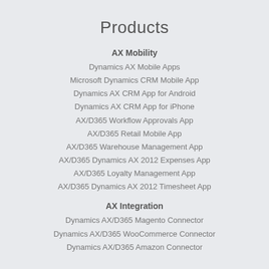Products
AX Mobility
Dynamics AX Mobile Apps
Microsoft Dynamics CRM Mobile App
Dynamics AX CRM App for Android
Dynamics AX CRM App for iPhone
AX/D365 Workflow Approvals App
AX/D365 Retail Mobile App
AX/D365 Warehouse Management App
AX/D365 Dynamics AX 2012 Expenses App
AX/D365 Loyalty Management App
AX/D365 Dynamics AX 2012 Timesheet App
AX Integration
Dynamics AX/D365 Magento Connector
Dynamics AX/D365 WooCommerce Connector
Dynamics AX/D365 Amazon Connector